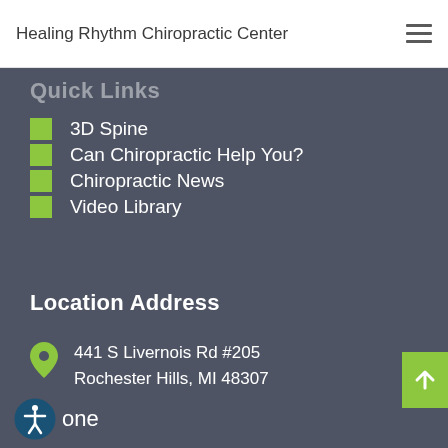Healing Rhythm Chiropractic Center
Quick Links
3D Spine
Can Chiropractic Help You?
Chiropractic News
Video Library
Location Address
441 S Livernois Rd #205
Rochester Hills, MI 48307
one